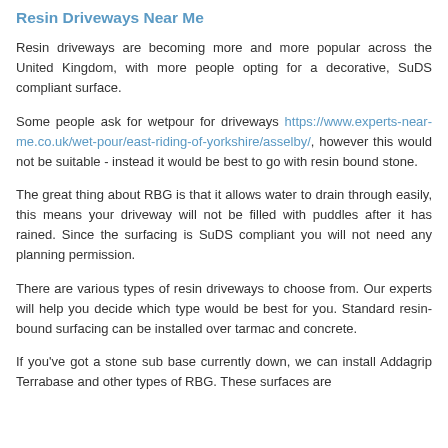Resin Driveways Near Me
Resin driveways are becoming more and more popular across the United Kingdom, with more people opting for a decorative, SuDS compliant surface.
Some people ask for wetpour for driveways https://www.experts-near-me.co.uk/wet-pour/east-riding-of-yorkshire/asselby/, however this would not be suitable - instead it would be best to go with resin bound stone.
The great thing about RBG is that it allows water to drain through easily, this means your driveway will not be filled with puddles after it has rained. Since the surfacing is SuDS compliant you will not need any planning permission.
There are various types of resin driveways to choose from. Our experts will help you decide which type would be best for you. Standard resin-bound surfacing can be installed over tarmac and concrete.
If you've got a stone sub base currently down, we can install Addagrip Terrabase and other types of RBG. These surfaces are